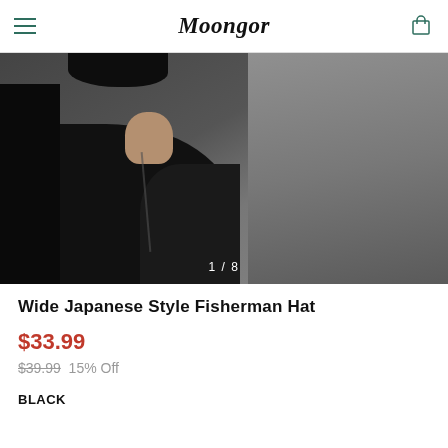Moongor
[Figure (photo): Person wearing a black V-neck shirt photographed from collar up against a gray background, image counter showing 1/8]
Wide Japanese Style Fisherman Hat
$33.99
$39.99  15% Off
BLACK